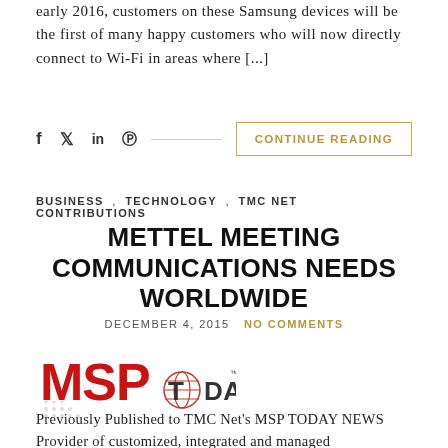early 2016, customers on these Samsung devices will be the first of many happy customers who will now directly connect to Wi-Fi in areas where [...]
CONTINUE READING
BUSINESS , TECHNOLOGY , TMC NET CONTRIBUTIONS
METTEL MEETING COMMUNICATIONS NEEDS WORLDWIDE
DECEMBER 4, 2015  NO COMMENTS
[Figure (logo): MSP TODAY logo with globe graphic]
Previously Published to TMC Net's MSP TODAY NEWS Provider of customized, integrated and managed communications solutions, MetTel announces a global